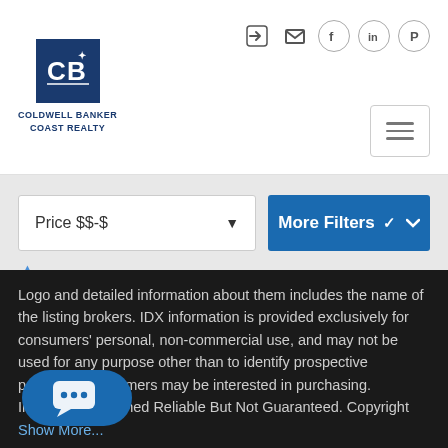[Figure (logo): Coldwell Banker Coast Realty logo — dark blue square with CB initials and star, text below]
Price $$-$
More Filters
Logo and detailed information about them includes the name of the listing brokers. IDX information is provided exclusively for consumers' personal, non-commercial use, and may not be used for any purpose other than to identify prospective properties consumers may be interested in purchasing. Information Deemed Reliable But Not Guaranteed. Copyright  Show More...
[Figure (illustration): Chat/messaging bubble button icon at bottom left]